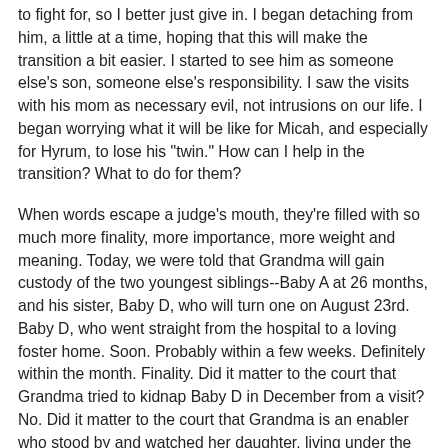to fight for, so I better just give in. I began detaching from him, a little at a time, hoping that this will make the transition a bit easier. I started to see him as someone else's son, someone else's responsibility. I saw the visits with his mom as necessary evil, not intrusions on our life. I began worrying what it will be like for Micah, and especially for Hyrum, to lose his "twin." How can I help in the transition? What to do for them?
When words escape a judge's mouth, they're filled with so much more finality, more importance, more weight and meaning. Today, we were told that Grandma will gain custody of the two youngest siblings--Baby A at 26 months, and his sister, Baby D, who will turn one on August 23rd. Baby D, who went straight from the hospital to a loving foster home. Soon. Probably within a few weeks. Definitely within the month. Finality. Did it matter to the court that Grandma tried to kidnap Baby D in December from a visit? No. Did it matter to the court that Grandma is an enabler who stood by and watched her daughter, living under the same roof, deliver THREE drug-positive babies? No. Did it matter that Mom will be right back on the Reservation with them? Or did